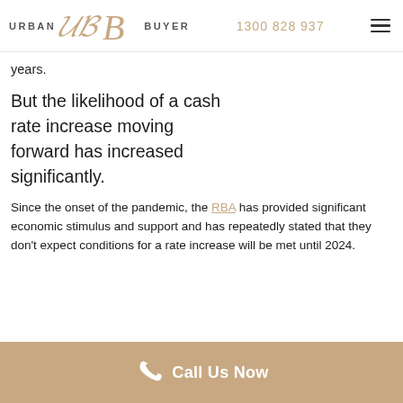URBAN BUYER | 1300 828 937
years.
But the likelihood of a cash rate increase moving forward has increased significantly.
Since the onset of the pandemic, the RBA has provided significant economic stimulus and support and has repeatedly stated that they don't expect conditions for a rate increase will be met until 2024.
Call Us Now